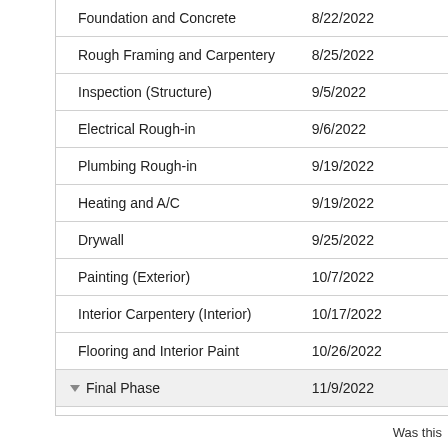| Task | Date |
| --- | --- |
| Foundation and Concrete | 8/22/2022 |
| Rough Framing and Carpentery | 8/25/2022 |
| Inspection (Structure) | 9/5/2022 |
| Electrical Rough-in | 9/6/2022 |
| Plumbing Rough-in | 9/19/2022 |
| Heating and A/C | 9/19/2022 |
| Drywall | 9/25/2022 |
| Painting (Exterior) | 10/7/2022 |
| Interior Carpentery (Interior) | 10/17/2022 |
| Flooring and Interior Paint | 10/26/2022 |
| ▼ Final Phase | 11/9/2022 |
Was this